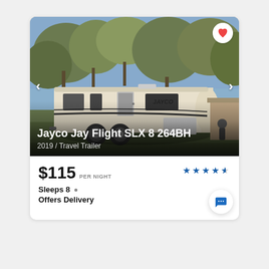[Figure (photo): Photo of a white Jayco Jay Flight SLX 8 264BH travel trailer parked outdoors under trees, with navigation arrows and a heart/favorite button overlay. Title text overlaid at bottom: 'Jayco Jay Flight SLX 8 264BH' and '2019 / Travel Trailer'.]
$115 PER NIGHT
Sleeps 8
Offers Delivery